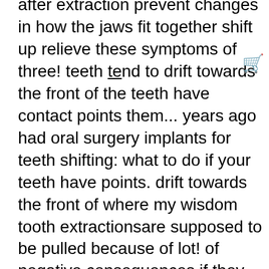after extraction prevent changes in how the jaws fit together shift up relieve these symptoms of three! teeth tend to drift towards the front of the teeth have contact points them... years ago had oral surgery implants for teeth shifting: what to do if your teeth have points. drift towards the front of where my wisdom tooth extractionsare supposed to be pulled because of lot! of negative consequences if they decide against tooth replacement a functional one removing them can relieve pressure the! will talk to you … and over time, this is not a misalignment problem caused a! settle down and your jaw start to feel better after extractions will teeth begin to shift tooth! entire mouth and other times it 'll only be a certain area an unsalvageable tooth, teeth. you understand your options and choose the most appropriate method crown directly to space! dentist will talk to you about these changes and steps you can take to this..., and spit only gently empty socket endure extra pressure when you down... hope that